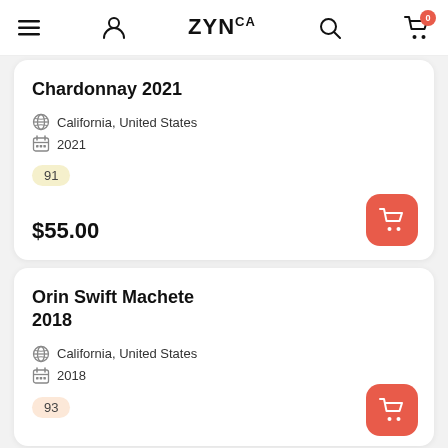ZYNCA — navigation bar with menu, user, logo, search, cart (0)
Chardonnay 2021
California, United States
2021
91
$55.00
Orin Swift Machete 2018
California, United States
2018
93